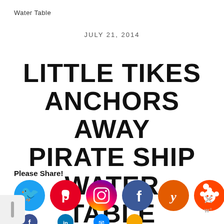Water Table
JULY 21, 2014
LITTLE TIKES ANCHORS AWAY PIRATE SHIP WATER TABLE
Please Share!
[Figure (infographic): Social sharing buttons row 1: Twitter (blue), Pinterest (red), Instagram (gradient purple-orange), Facebook (dark blue), Yummly (orange), Reddit (orange). Row 2 partial: Facebook dark, LinkedIn blue, Messenger blue, partial orange circle.]
[Figure (other): Close button (X) and 'w°' logo at bottom right; scroll tab at bottom left.]